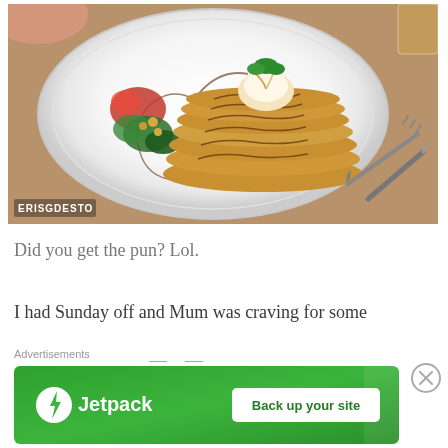[Figure (photo): A plate of stacked pancakes with chocolate swirl drizzle, topped with a scoop of cream/butter and herb garnish, with vegetable toppings on the side. A fork and knife visible on the right. Watermark 'ERISGDESTO' in bottom left. Wooden table background.]
Did you get the pun? Lol.
I had Sunday off and Mum was craving for some
Advertisements
[Figure (infographic): Jetpack advertisement banner with green background. Shows Jetpack logo on left and 'Back up your site' button on right.]